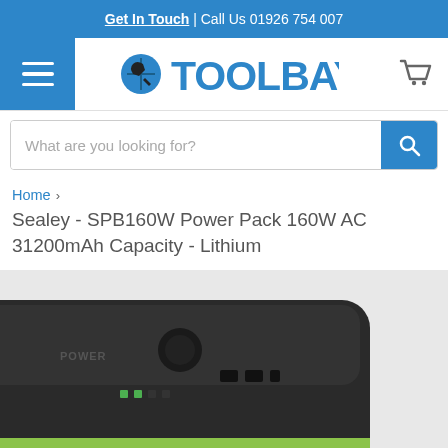Get In Touch | Call Us 01926 754 007
[Figure (logo): Toolbay logo with wrench icon in blue]
What are you looking for?
Home >
Sealey - SPB160W Power Pack 160W AC 31200mAh Capacity - Lithium
[Figure (photo): Product photo of the Sealey SPB160W Power Pack, a dark grey rectangular power bank device with green accent, partially visible at bottom of page]